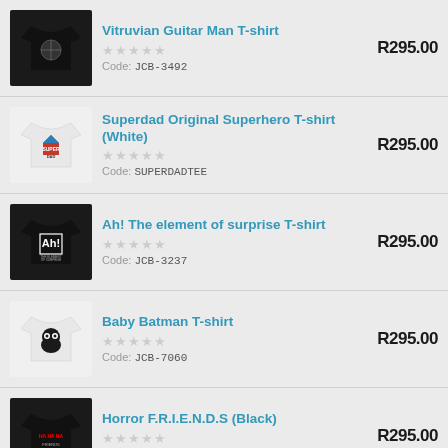Vitruvian Guitar Man T-shirt | Code: JCB-3492 | R295.00
Superdad Original Superhero T-shirt (White) | Code: SUPERDADTEE | R295.00
Ah! The element of surprise T-shirt | Code: JCB-3237 | R295.00
Baby Batman T-shirt | Code: JCB-7060 | R295.00
Horror F.R.I.E.N.D.S (Black) | Code: FCTEE_SR-002 | R295.00